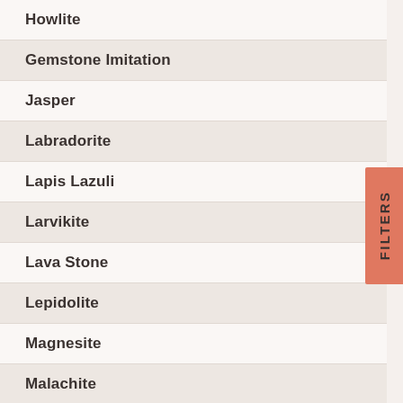Howlite
Gemstone Imitation
Jasper
Labradorite
Lapis Lazuli
Larvikite
Lava Stone
Lepidolite
Magnesite
Malachite
Morganite